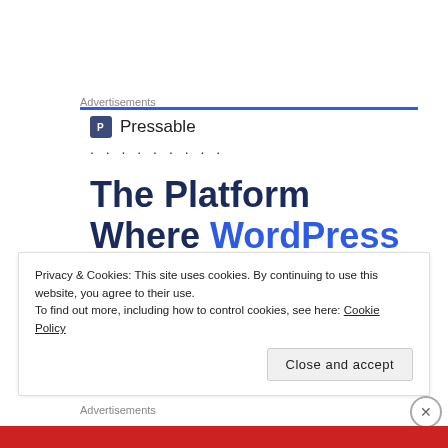Advertisements
[Figure (logo): Pressable logo with icon and brand name, followed by dots row, then large headline: The Platform Where WordPress Works Best]
Privacy & Cookies: This site uses cookies. By continuing to use this website, you agree to their use.
To find out more, including how to control cookies, see here: Cookie Policy
Close and accept
Advertisements